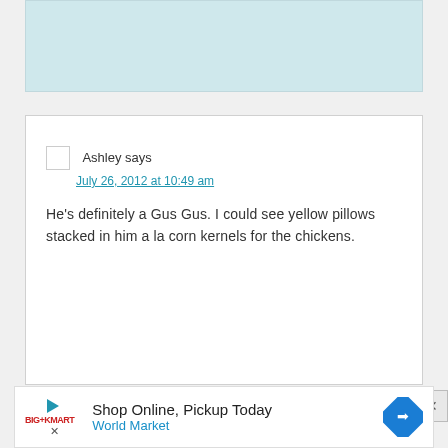[Figure (other): Partial light blue/teal comment box at the top of the page, content not visible]
Ashley says
July 26, 2012 at 10:49 am

He’s definitely a Gus Gus. I could see yellow pillows stacked in him a la corn kernels for the chickens.
Anne says
[Figure (infographic): Advertisement banner: Shop Online, Pickup Today - World Market, with play button, logo, and blue diamond navigation icon]